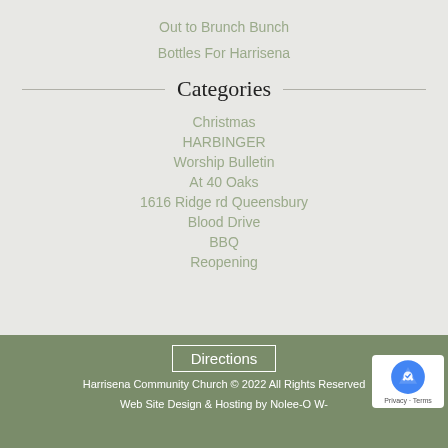Out to Brunch Bunch
Bottles For Harrisena
Categories
Christmas
HARBINGER
Worship Bulletin
At 40 Oaks
1616 Ridge rd Queensbury
Blood Drive
BBQ
Reopening
Directions
Harrisena Community Church © 2022 All Rights Reserved
Web Site Design & Hosting by Nolee-O W-